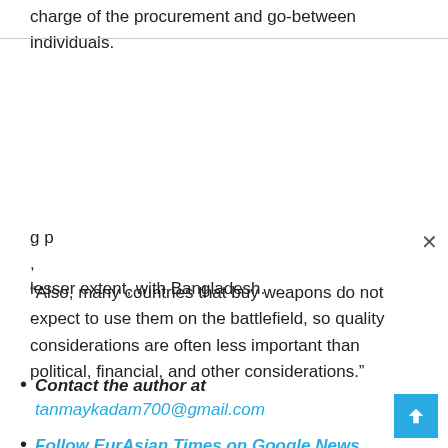charge of the procurement and go-between individuals.
g p , lesser extent, with Bangladesh.
“Also, many countries that buy weapons do not expect to use them on the battlefield, so quality considerations are often less important than political, financial, and other considerations.”
Contact the author at tanmaykadam700@gmail.com
Follow EurAsian Times on Google News